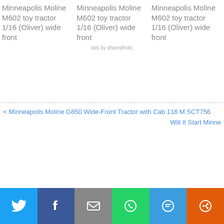Minneapolis Moline M602 toy tractor 1/16 (Oliver) wide front
Minneapolis Moline M602 toy tractor 1/16 (Oliver) wide front
Minneapolis Moline M602 toy tractor 1/16 (Oliver) wide front
ads by shareaholic
< Minneapolis Moline G850 Wide-Front Tractor with Cab 116 M SCT756
Will It Start Minne
[Figure (infographic): Social share bar with Twitter, Facebook, Email, WhatsApp, SMS, and More buttons]